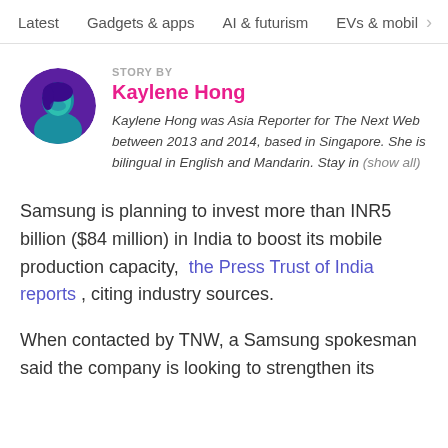Latest   Gadgets & apps   AI & futurism   EVs & mobil  >
STORY BY
Kaylene Hong
[Figure (photo): Circular profile avatar of Kaylene Hong with teal and purple tones]
Kaylene Hong was Asia Reporter for The Next Web between 2013 and 2014, based in Singapore. She is bilingual in English and Mandarin. Stay in (show all)
Samsung is planning to invest more than INR5 billion ($84 million) in India to boost its mobile production capacity,  the Press Trust of India reports , citing industry sources.
When contacted by TNW, a Samsung spokesman said the company is looking to strengthen its